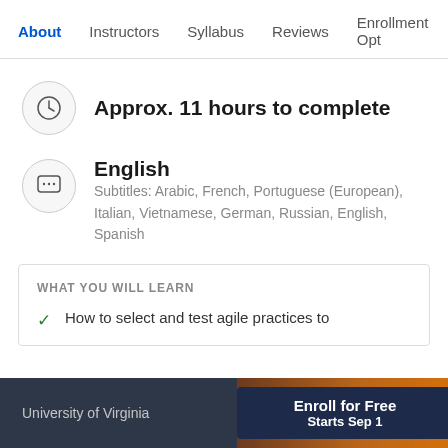About  Instructors  Syllabus  Reviews  Enrollment Opt
Approx. 11 hours to complete
English
Subtitles: Arabic, French, Portuguese (European), Italian, Vietnamese, German, Russian, English, Spanish
WHAT YOU WILL LEARN
How to select and test agile practices to
University of Virginia  Enroll for Free  Starts Sep 1